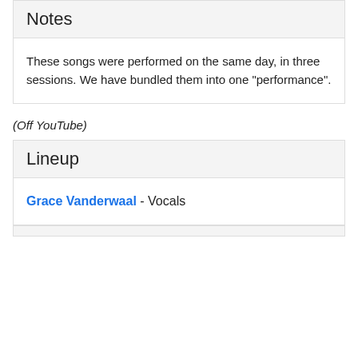Notes
These songs were performed on the same day, in three sessions. We have bundled them into one "performance".
(Off YouTube)
Lineup
Grace Vanderwaal - Vocals